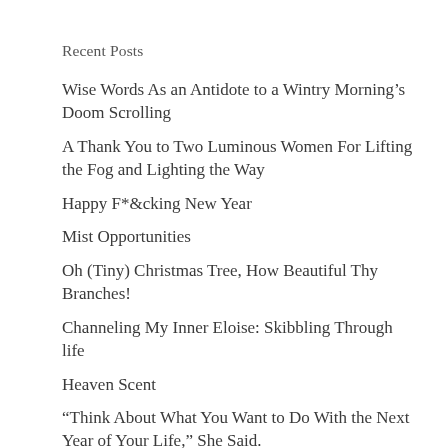Recent Posts
Wise Words As an Antidote to a Wintry Morning’s Doom Scrolling
A Thank You to Two Luminous Women For Lifting the Fog and Lighting the Way
Happy F*&cking New Year
Mist Opportunities
Oh (Tiny) Christmas Tree, How Beautiful Thy Branches!
Channeling My Inner Eloise: Skibbling Through life
Heaven Scent
“Think About What You Want to Do With the Next Year of Your Life,” She Said.
The White Lotus: Or How Not to Become a Lotus